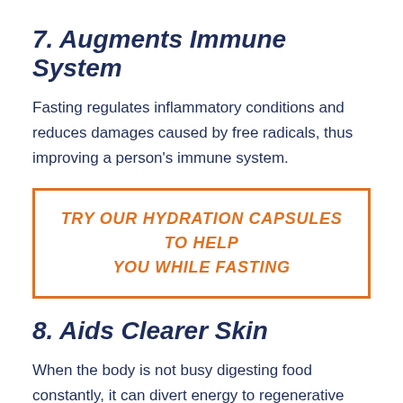7. Augments Immune System
Fasting regulates inflammatory conditions and reduces damages caused by free radicals, thus improving a person’s immune system.
TRY OUR HYDRATION CAPSULES TO HELP YOU WHILE FASTING
8. Aids Clearer Skin
When the body is not busy digesting food constantly, it can divert energy to regenerative activities. Thus, one of the benefits of fasting is